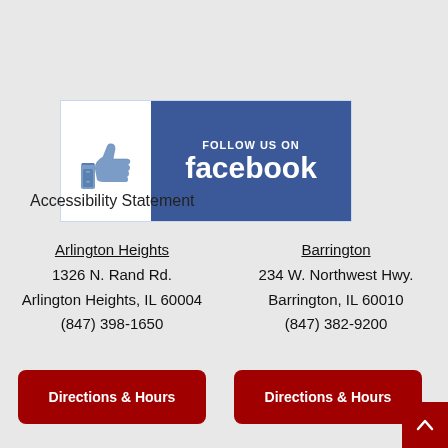[Figure (logo): Follow us on Facebook banner with thumbs up icon and Facebook blue background]
Accessibility Statement
Arlington Heights
1326 N. Rand Rd.
Arlington Heights, IL 60004
(847) 398-1650
Barrington
234 W. Northwest Hwy.
Barrington, IL 60010
(847) 382-9200
Directions & Hours
Directions & Hours